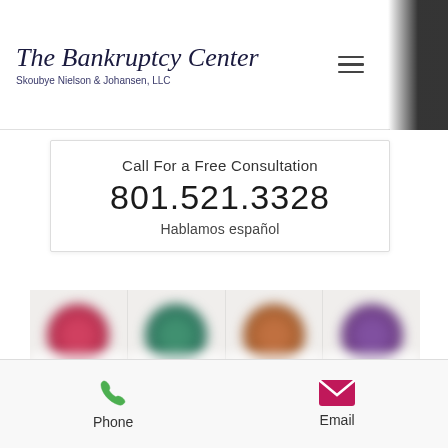The Bankruptcy Center
Skoubye Nielson & Johansen, LLC
Call For a Free Consultation
801.521.3328
Hablamos español
[Figure (screenshot): Blurred grid of four circular profile photos with gold and blue bands at bottom]
Phone   Email